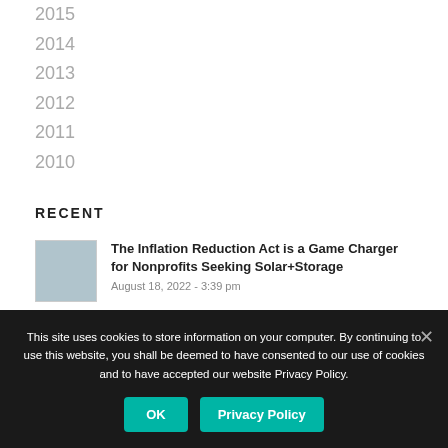2015
2014
2013
2012
2011
2010
RECENT
The Inflation Reduction Act is a Game Charger for Nonprofits Seeking Solar+Storage
August 18, 2022 - 3:39 pm
Resilient Power for Emergency Operations: Freeing First
This site uses cookies to store information on your computer. By continuing to use this website, you shall be deemed to have consented to our use of cookies and to have accepted our website Privacy Policy.